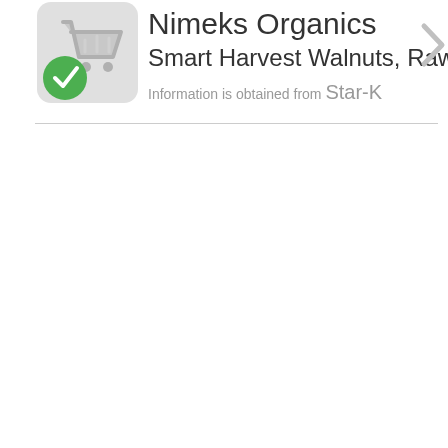[Figure (logo): Kosher certification icon: gray shopping cart symbol with a green circular checkmark badge in the bottom-left corner]
Nimeks Organics
Smart Harvest Walnuts, Raw
Information is obtained from Star-K